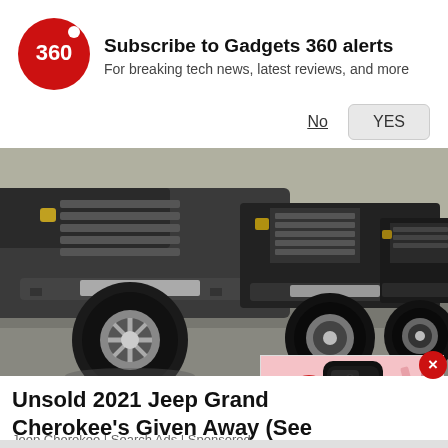[Figure (logo): Gadgets 360 logo - red circle with '360' text and dot]
Subscribe to Gadgets 360 alerts
For breaking tech news, latest reviews, and more
No   YES
[Figure (photo): Row of Jeep Wranglers/Grand Cherokees parked in a lot, front-end view showing grilles, tires, and bumpers]
[Figure (screenshot): Video ad overlay showing a black smartphone with play button, pink background with pencils]
Unsold 2021 Jeep Grand Cherokee's Given Away (See Prices)
Jeep Cherokee | Search Ads | Sponsored